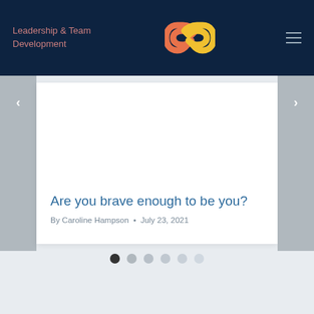Leadership & Team Development
[Figure (logo): Two interlocking chain links logo in orange and yellow gradient]
Are you brave enough to be you?
By Caroline Hampson • July 23, 2021